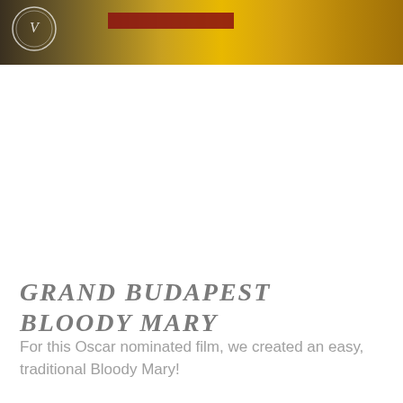[Figure (photo): Partial photo showing a blurred golden/yellow background with a circular emblem/logo on the left and a red element, cropped at the top of the page.]
GRAND BUDAPEST BLOODY MARY
For this Oscar nominated film, we created an easy, traditional Bloody Mary!